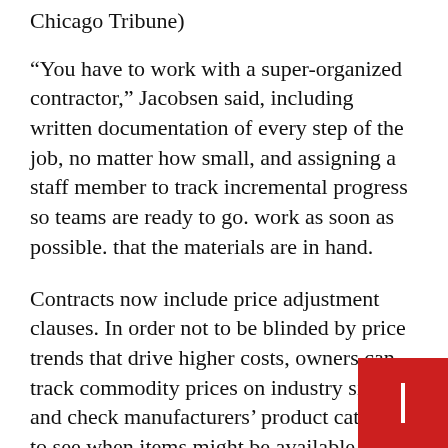Chicago Tribune)
“You have to work with a super-organized contractor,” Jacobsen said, including written documentation of every step of the job, no matter how small, and assigning a staff member to track incremental progress so teams are ready to go. work as soon as possible. that the materials are in hand.
Contracts now include price adjustment clauses. In order not to be blinded by price trends that drive higher costs, owners can track commodity prices on industry sites and check manufacturers’ product catalogs to see when items might be available, said Jean Brownhill, founder and CEO of New York. Sweeten.com referral service.
Near North resident Jill Lowe finished renovating a